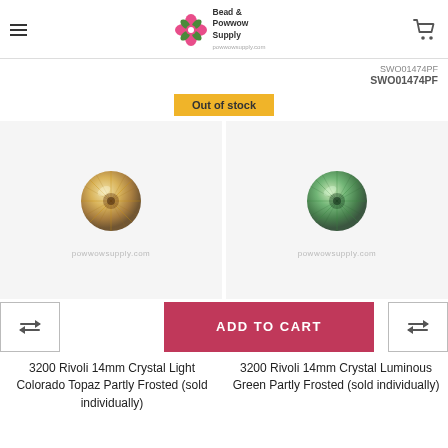Bead & Powwow Supply
SWO01474PF
Out of stock
[Figure (photo): Crystal rivoli bead - Crystal Light Colorado Topaz Partly Frosted, gold/champagne tones with faceted star pattern, on light gray background with powwowsupply.com watermark]
[Figure (photo): Crystal rivoli bead - Crystal Luminous Green Partly Frosted, green tones with faceted star pattern, on light gray background with powwowsupply.com watermark]
ADD TO CART
3200 Rivoli 14mm Crystal Light Colorado Topaz Partly Frosted (sold individually)
3200 Rivoli 14mm Crystal Luminous Green Partly Frosted (sold individually)